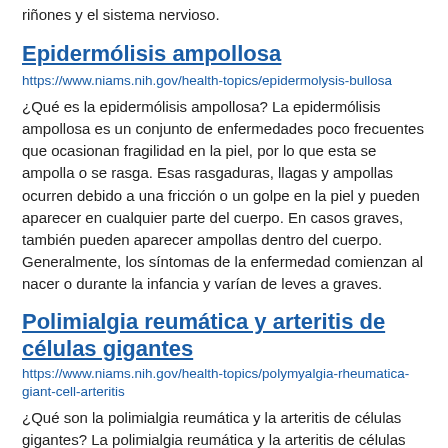riñones y el sistema nervioso.
Epidermólisis ampollosa
https://www.niams.nih.gov/health-topics/epidermolysis-bullosa
¿Qué es la epidermólisis ampollosa? La epidermólisis ampollosa es un conjunto de enfermedades poco frecuentes que ocasionan fragilidad en la piel, por lo que esta se ampolla o se rasga. Esas rasgaduras, llagas y ampollas ocurren debido a una fricción o un golpe en la piel y pueden aparecer en cualquier parte del cuerpo. En casos graves, también pueden aparecer ampollas dentro del cuerpo. Generalmente, los síntomas de la enfermedad comienzan al nacer o durante la infancia y varían de leves a graves.
Polimialgia reumática y arteritis de células gigantes
https://www.niams.nih.gov/health-topics/polymyalgia-rheumatica-giant-cell-arteritis
¿Qué son la polimialgia reumática y la arteritis de células gigantes? La polimialgia reumática y la arteritis de células gigantes son trastornos inflamatorios estrechamente relacionados. Algunas personas tienen uno de los trastornos, mientras que otras desarrollan ambos. La polimialgia reumática causa dolor muscular y rigidez en los hombros, la parte superior de los brazos, el área de la cadera y,